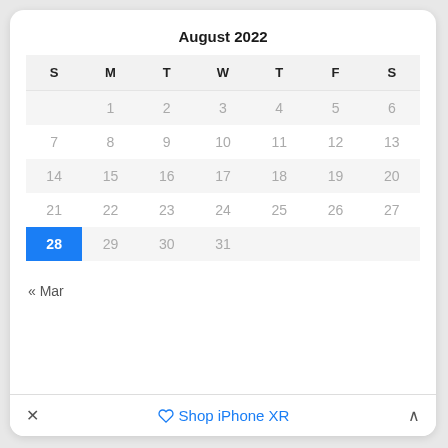August 2022
| S | M | T | W | T | F | S |
| --- | --- | --- | --- | --- | --- | --- |
|  | 1 | 2 | 3 | 4 | 5 | 6 |
| 7 | 8 | 9 | 10 | 11 | 12 | 13 |
| 14 | 15 | 16 | 17 | 18 | 19 | 20 |
| 21 | 22 | 23 | 24 | 25 | 26 | 27 |
| 28 | 29 | 30 | 31 |  |  |  |
« Mar
✕   Shop iPhone XR   ∧